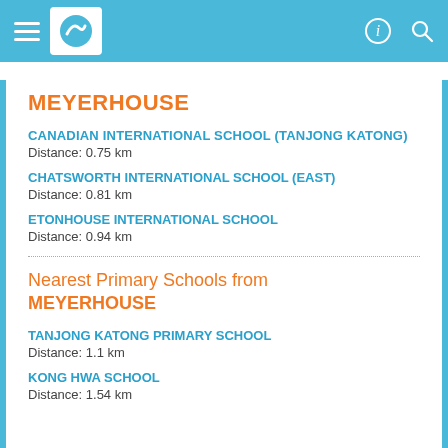[Figure (screenshot): Mobile app header bar with hamburger menu, logo, info icon, and search icon on teal background]
MEYERHOUSE
CANADIAN INTERNATIONAL SCHOOL (TANJONG KATONG)
Distance: 0.75 km
CHATSWORTH INTERNATIONAL SCHOOL (EAST)
Distance: 0.81 km
ETONHOUSE INTERNATIONAL SCHOOL
Distance: 0.94 km
Nearest Primary Schools from MEYERHOUSE
TANJONG KATONG PRIMARY SCHOOL
Distance: 1.1 km
KONG HWA SCHOOL
Distance: 1.54 km